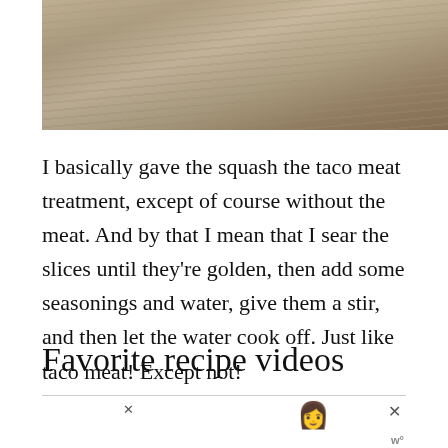[Figure (photo): Close-up photo of wooden texture or pages fanning out, showing brown and tan tones with diagonal striations]
I basically gave the squash the taco meat treatment, except of course without the meat. And by that I mean that I sear the slices until they're golden, then add some seasonings and water, give them a stir, and then let the water cook off. Just like taco meat! Except not!
Favorite recipe videos
[Figure (screenshot): Advertisement banner reading STOP ASIAN HATE in orange bold text on purple/lavender background with white flower decorations and an anime-style character figure]